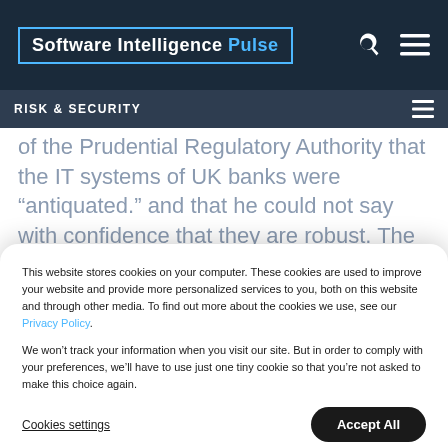Software Intelligence Pulse
RISK & SECURITY
of the Prudential Regulatory Authority that the IT systems of UK banks were “antiquated.” and that he could not say with confidence that they are robust. The statements were delivered to a committee in Northern Ireland as they discussed the major
This website stores cookies on your computer. These cookies are used to improve your website and provide more personalized services to you, both on this website and through other media. To find out more about the cookies we use, see our Privacy Policy.

We won’t track your information when you visit our site. But in order to comply with your preferences, we’ll have to use just one tiny cookie so that you’re not asked to make this choice again.
Cookies settings
Accept All